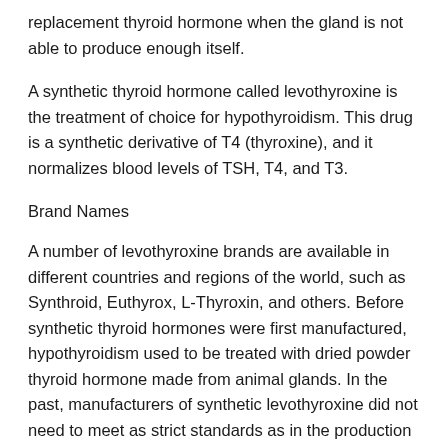replacement thyroid hormone when the gland is not able to produce enough itself.
A synthetic thyroid hormone called levothyroxine is the treatment of choice for hypothyroidism. This drug is a synthetic derivative of T4 (thyroxine), and it normalizes blood levels of TSH, T4, and T3.
Brand Names
A number of levothyroxine brands are available in different countries and regions of the world, such as Synthroid, Euthyrox, L-Thyroxin, and others. Before synthetic thyroid hormones were first manufactured, hypothyroidism used to be treated with dried powder thyroid hormone made from animal glands. In the past, manufacturers of synthetic levothyroxine did not need to meet as strict standards as in the production of other drugs. This resulted in thyroid products with varying auglity and potency. The FDA has